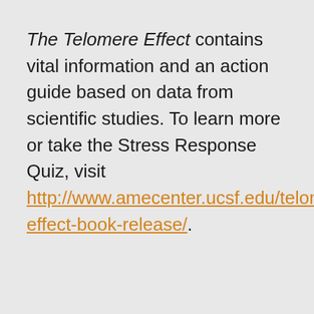The Telomere Effect contains vital information and an action guide based on data from scientific studies. To learn more or take the Stress Response Quiz, visit http://www.amecenter.ucsf.edu/telomere-effect-book-release/.